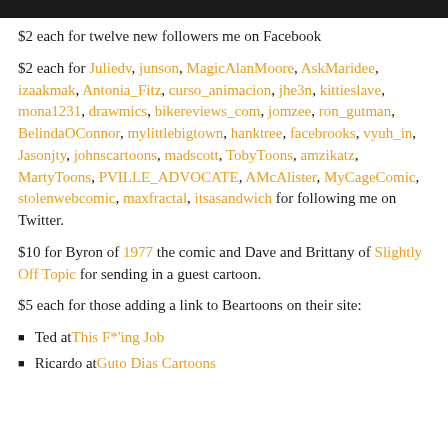[Figure (other): Dark header bar at top of page]
$2 each for twelve new followers me on Facebook
$2 each for Juliedv, junson, MagicAlanMoore, AskMaridee, izaakmak, Antonia_Fitz, curso_animacion, jhe3n, kittieslave, mona1231, drawmics, bikereviews_com, jomzee, ron_gutman, BelindaOConnor, mylittlebigtown, hanktree, facebrooks, vyuh_in, Jasonjty, johnscartoons, madscott, TobyToons, amzikatz, MartyToons, PVILLE_ADVOCATE, AMcAlister, MyCageComic, stolenwebcomic, maxfractal, itsasandwich for following me on Twitter.
$10 for Byron of 1977 the comic and Dave and Brittany of Slightly Off Topic for sending in a guest cartoon.
$5 each for those adding a link to Beartoons on their site:
Ted at This F*'ing Job
Ricardo at Guto Dias Cartoons